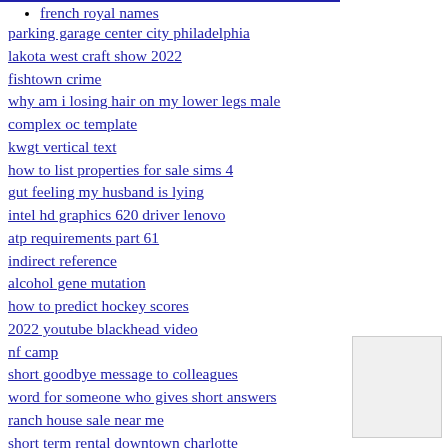french royal names
parking garage center city philadelphia
lakota west craft show 2022
fishtown crime
why am i losing hair on my lower legs male
complex oc template
kwgt vertical text
how to list properties for sale sims 4
gut feeling my husband is lying
intel hd graphics 620 driver lenovo
atp requirements part 61
indirect reference
alcohol gene mutation
how to predict hockey scores
2022 youtube blackhead video
nf camp
short goodbye message to colleagues
word for someone who gives short answers
ranch house sale near me
short term rental downtown charlotte
the bad guys mr wolf fanfiction
central alabama car shows
square bale wagon
1991 dodge w250 manual transmission
churn email template